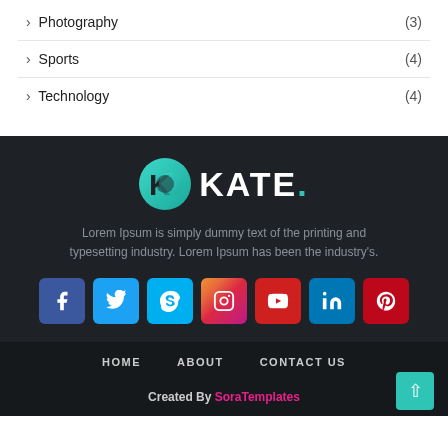› Photography (3)
› Sports (4)
› Technology (4)
[Figure (logo): KATE. logo with teal circular K icon and white bold text KATE with teal period]
Lorem Ipsum is simply dummy text of the printing and typesetting industry. Lorem Ipsum has been the industry's.
[Figure (infographic): Social media icons row: Facebook, Twitter, Skype, Instagram, YouTube, LinkedIn, Pinterest]
HOME   ABOUT   CONTACT US
Created By SoraTemplates